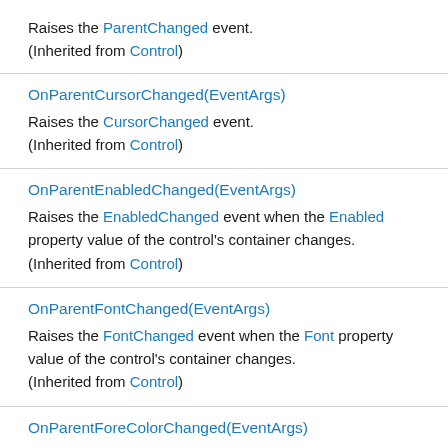Raises the ParentChanged event. (Inherited from Control)
OnParentCursorChanged(EventArgs)
Raises the CursorChanged event.
(Inherited from Control)
OnParentEnabledChanged(EventArgs)
Raises the EnabledChanged event when the Enabled property value of the control's container changes.
(Inherited from Control)
OnParentFontChanged(EventArgs)
Raises the FontChanged event when the Font property value of the control's container changes.
(Inherited from Control)
OnParentForeColorChanged(EventArgs)
Raises the ForeColorChanged event when the ForeColor property value of the control's container changes.
(Inherited from Control)